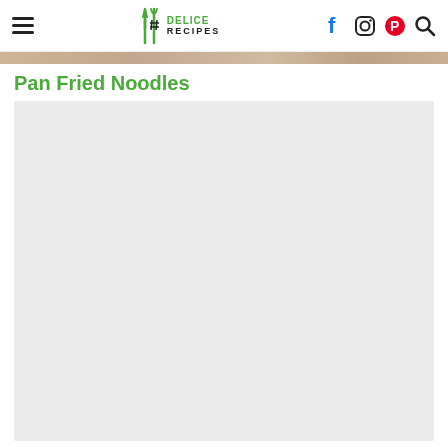Delice Recipes
[Figure (photo): Thin horizontal banner image of food (pan fried noodles), partially visible at the top of the page.]
Pan Fried Noodles
[Figure (photo): Large light grey placeholder/loading image area for the Pan Fried Noodles recipe photo.]